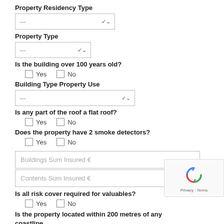Property Residency Type
--- (dropdown)
Property Type
--- (dropdown)
Is the building over 100 years old?
Yes / No (checkboxes)
Building Type Property Use
--- (dropdown)
Is any part of the roof a flat roof?
Yes / No (checkboxes)
Does the property have 2 smoke detectors?
Yes / No (checkboxes)
Buildings Sum Insured €
Contents Sum Insured €
Is all risk cover required for valuables?
Yes / No (checkboxes)
Is the property located within 200 metres of any coastline, watercourse or lake?
Yes / No (checkboxes)